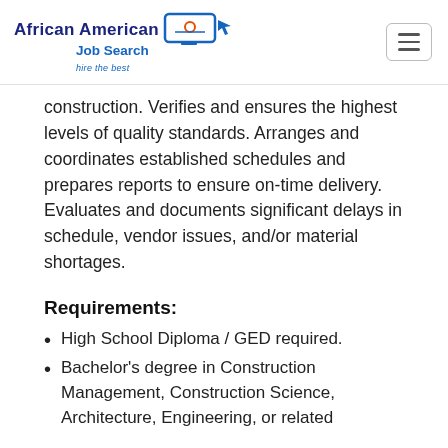African American Job Search – hire the best
construction. Verifies and ensures the highest levels of quality standards. Arranges and coordinates established schedules and prepares reports to ensure on-time delivery. Evaluates and documents significant delays in schedule, vendor issues, and/or material shortages.
Requirements:
High School Diploma / GED required.
Bachelor's degree in Construction Management, Construction Science, Architecture, Engineering, or related...